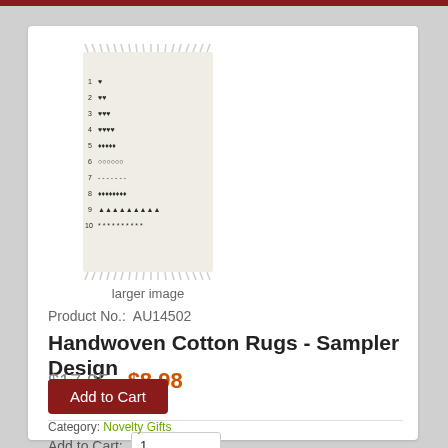[Figure (photo): Product photo of a handwoven cotton rug with sampler design showing counted animals pattern on cream/white fabric with fringe edges]
larger image
Product No.:  AU14502
Handwoven Cotton Rugs - Sampler Design
$17.95  $8.98
Save: 50% off
Add to Cart:  1
Add to Cart
Category:  Novelty Gifts